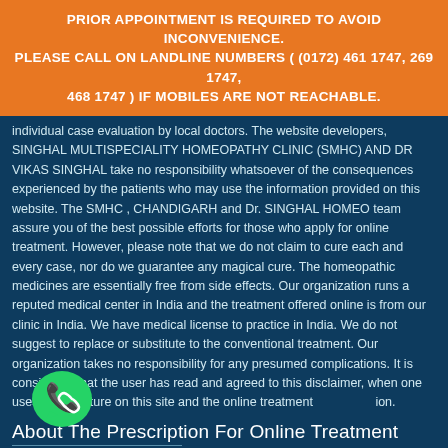PRIOR APPOINTMENT IS REQUIRED TO AVOID INCONVENIENCE. PLEASE CALL ON LANDLINE NUMBERS ( (0172) 461 1747, 269 1747, 468 1747 ) IF MOBILES ARE NOT REACHABLE.
individual case evaluation by local doctors. The website developers, SINGHAL MULTISPECIALITY HOMEOPATHY CLINIC (SMHC) AND DR VIKAS SINGHAL take no responsibility whatsoever of the consequences experienced by the patients who may use the information provided on this website. The SMHC , CHANDIGARH and Dr. SINGHAL HOMEO team assure you of the best possible efforts for those who apply for online treatment. However, please note that we do not claim to cure each and every case, nor do we guarantee any magical cure. The homeopathic medicines are essentially free from side effects. Our organization runs a reputed medical center in India and the treatment offered online is from our clinic in India. We have medical license to practice in India. We do not suggest to replace or substitute to the conventional treatment. Our organization takes no responsibility for any presumed complications. It is considered that the user has read and agreed to this disclaimer, when one uses the literature on this site and the online treatment option.
About The Prescription For Online Treatment
Due to complex nature of homeopathy prescribing, please note that it is not within the scope of the online treatment service to give any elaborate explanation on the prescription.